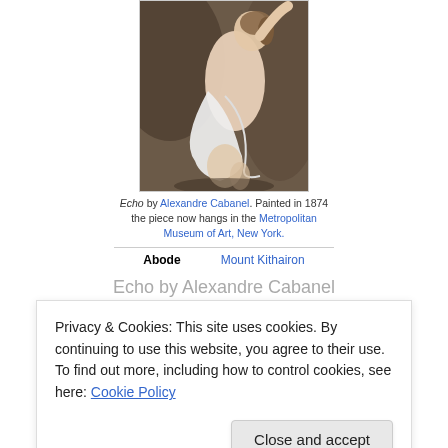[Figure (photo): Painting of Echo by Alexandre Cabanel, a semi-draped female figure reclining on rocks, white garment flowing, painted in warm earthy tones.]
Echo by Alexandre Cabanel. Painted in 1874 the piece now hangs in the Metropolitan Museum of Art, New York.
| Abode | Mount Kithairon |
| --- | --- |
Echo by Alexandre Cabanel
1874 Mount Kithairon
Privacy & Cookies: This site uses cookies. By continuing to use this website, you agree to their use.
To find out more, including how to control cookies, see here: Cookie Policy
Close and accept
upon, and a white stage (half of a line cut)